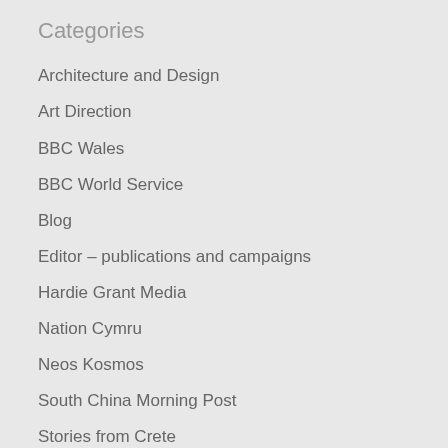Categories
Architecture and Design
Art Direction
BBC Wales
BBC World Service
Blog
Editor – publications and campaigns
Hardie Grant Media
Nation Cymru
Neos Kosmos
South China Morning Post
Stories from Crete
The Age